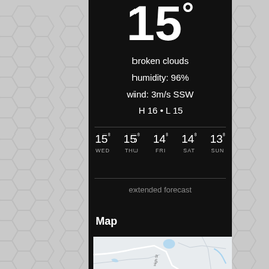15°
broken clouds
humidity: 96%
wind: 3m/s SSW
H 16 • L 15
| WED | THU | FRI | SAT | SUN |
| --- | --- | --- | --- | --- |
| 15° | 15° | 14° | 14° | 13° |
extended forecast
Map
[Figure (map): Street map showing roads and water features with a white route path, including High St label]